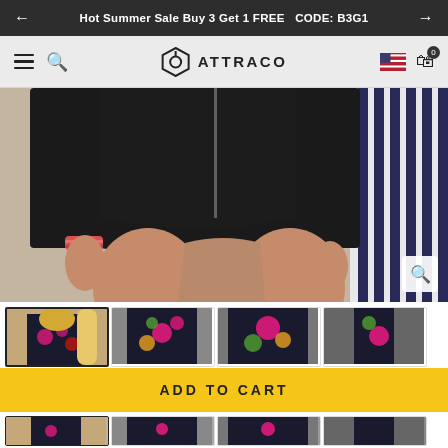Hot Summer Sale Buy 3 Get 1 FREE  CODE: B3G1
[Figure (screenshot): Attraco brand navigation bar with hamburger menu, search icon, logo, US flag, and cart icon showing 0 items]
[Figure (photo): Close-up of a woman wearing a black long-sleeve swimsuit/rash guard, showing torso and legs, with a colorful bracelet on her wrist. A striped towel and surfboard are visible in the background.]
[Figure (photo): Thumbnail 1: Woman with surfboard wearing floral rash guard (selected)]
[Figure (photo): Thumbnail 2: Back view of floral rash guard]
[Figure (photo): Thumbnail 3: Front view of floral rash guard]
[Figure (photo): Thumbnail 4: Side/sleeve view of floral rash guard]
ADD TO CART